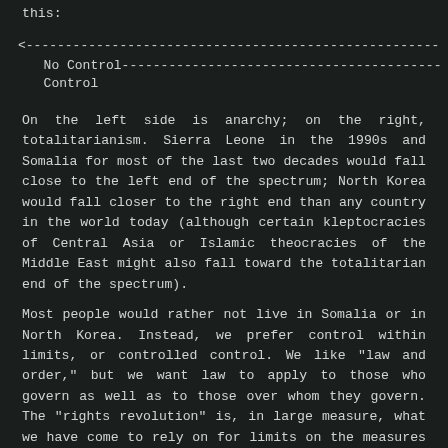this:
[Figure (infographic): A spectrum diagram showing a horizontal arrow from left to right labeled '<' on the left and '>' on the right, with 'No Control' on the left end and 'Total Control' on the right end, represented as dashes connecting them.]
On the left side is anarchy; on the right, totalitarianism. Sierra Leone in the 1990s and Somalia for most of the last two decades would fall close to the left end of the spectrum; North Korea would fall closer to the right end than any country in the world today (although certain kleptocracies of Central Asia or Islamic theocracies of the Middle East might also fall toward the totalitarian end of the spectrum).
Most people would rather not live in Somalia or in North Korea. Instead, we prefer control within limits, or controlled control. We like "law and order," but we want law to apply to those who govern as well as to those over whom they govern. The "rights revolution" is, in large measure, what we have come to rely on for limits on the measures governments may take to impose order. Jefferson, in fact, put the limitations imposed by rights first when he declared that "governments are instituted among men" in order "to